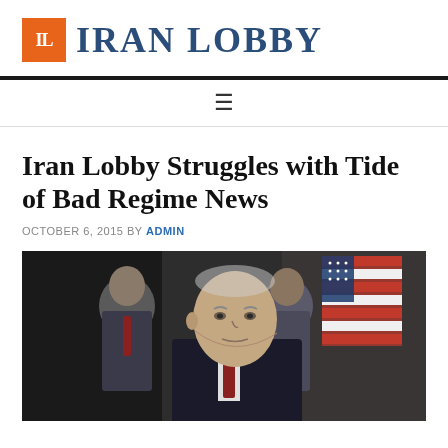[Figure (logo): Iran Lobby logo with orange IL icon and dark blue serif text 'IRAN LOBBY']
≡ (navigation hamburger menu)
Iran Lobby Struggles with Tide of Bad Regime News
OCTOBER 6, 2015 BY ADMIN
[Figure (photo): Press conference photo showing an elderly man in a dark suit speaking at a podium, with other people and an American flag in the background]